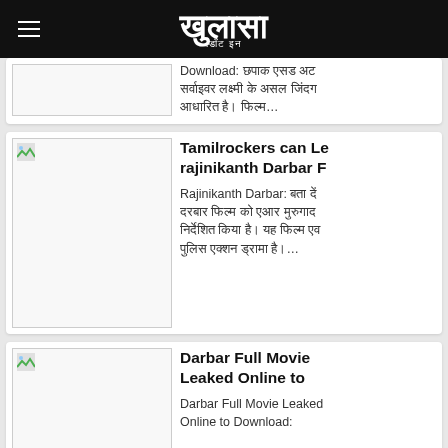खुलासा .इन
Download: छपाक एसड अट सर्वाइवर लक्ष्मी के असल जिंदग आधारित है। फिल्म…
Tamilrockers can Le rajinikanth Darbar F
Rajinikanth Darbar: बता दें दरबार फिल्म को एआर मुरुगाद निर्देशित किया है। यह फिल्म एव पुलिस एक्शन ड्रामा है।…
Darbar Full Movie Leaked Online to
Darbar Full Movie Leaked Online to Download: